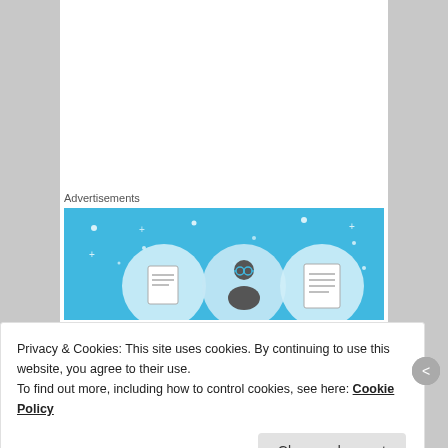Advertisements
[Figure (illustration): Blue advertisement banner with circular icons of people/documents on a light blue background with sparkles]
[Figure (photo): Profile photo of Jessica, a woman with glasses and curly dark hair wearing a yellow top]
Jessica on June 6, 2014 at 4:08 pm said:
Privacy & Cookies: This site uses cookies. By continuing to use this website, you agree to their use.
To find out more, including how to control cookies, see here: Cookie Policy
Close and accept